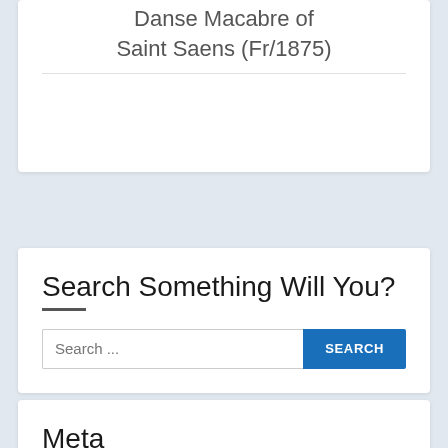Danse Macabre of Saint Saens (Fr/1875)
Search Something Will You?
Search ...
Meta